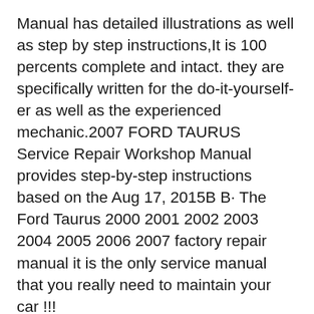Manual has detailed illustrations as well as step by step instructions,It is 100 percents complete and intact. they are specifically written for the do-it-yourself-er as well as the experienced mechanic.2007 FORD TAURUS Service Repair Workshop Manual provides step-by-step instructions based on the Aug 17, 2015B B· The Ford Taurus 2000 2001 2002 2003 2004 2005 2006 2007 factory repair manual it is the only service manual that you really need to maintain your car !!!
Get the best deals on Owner & Operator Manuals for Ford Taurus when you shop the largest online selection at eBay.com. Free shipping on many items...